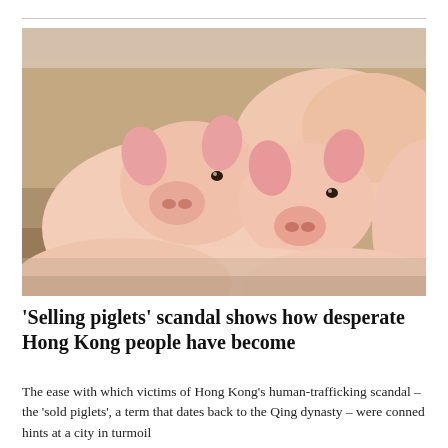[Figure (photo): Close-up photograph of three pink piglets huddled together, looking at the camera, on a brown floor background.]
‘Selling piglets’ scandal shows how desperate Hong Kong people have become
The ease with which victims of Hong Kong’s human-trafficking scandal – the ‘sold piglets’, a term that dates back to the Qing dynasty – were conned hints at a city in turmoil